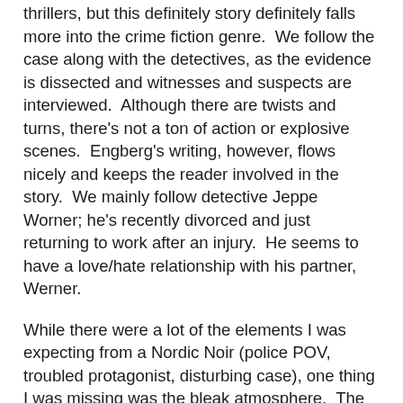thrillers, but this definitely story definitely falls more into the crime fiction genre.  We follow the case along with the detectives, as the evidence is dissected and witnesses and suspects are interviewed.  Although there are twists and turns, there's not a ton of action or explosive scenes.  Engberg's writing, however, flows nicely and keeps the reader involved in the story.  We mainly follow detective Jeppe Worner; he's recently divorced and just returning to work after an injury.  He seems to have a love/hate relationship with his partner, Werner.
While there were a lot of the elements I was expecting from a Nordic Noir (police POV, troubled protagonist, disturbing case), one thing I was missing was the bleak atmosphere.  The story takes place over a few days in August, so it's bright, hot, and sunny in most scenes (although it does contrast nicely with some of the scenes in police headquarters).  However, I thought there were some great descriptions of Denmark, and Copenhagen in particular, so it was fun to kind of get a little tour of the area.  I think if the story had taken place in winter, it might have helped elevate the dark, creepy factor.  But, I did really enjoy this book -